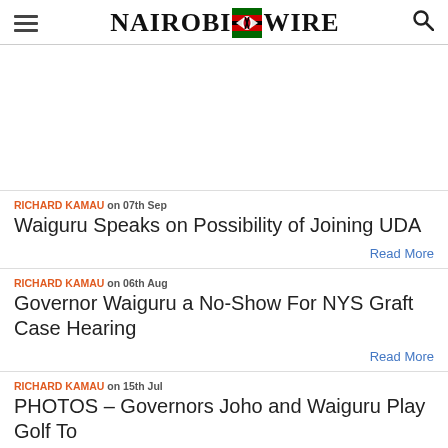NAIROBI WIRE
RICHARD KAMAU on 07th Sep
Waiguru Speaks on Possibility of Joining UDA
Read More
RICHARD KAMAU on 06th Aug
Governor Waiguru a No-Show For NYS Graft Case Hearing
Read More
RICHARD KAMAU on 15th Jul
PHOTOS – Governors Joho and Waiguru Play Golf To